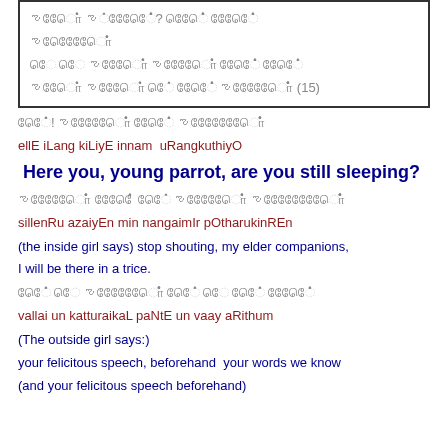[Tamil script lines with verse number (15)]
[Tamil script] ellE! [Tamil script]
ellE iLang kiLiyE innam uRangkuthiyO
Here you, young parrot, are you still sleeping?
[Tamil script] sillenRu azaiyEn min nangaimIr pOtharukinREn
sillenRu azaiyEn min nangaimIr pOtharukinREn
(the inside girl says) stop shouting, my elder companions,
I will be there in a trice.
[Tamil script]
vallai un katturaikaL paNtE un vaay aRithum
(The outside girl says:)
your felicitous speech, beforehand your words we know
(and your felicitous speech beforehand)